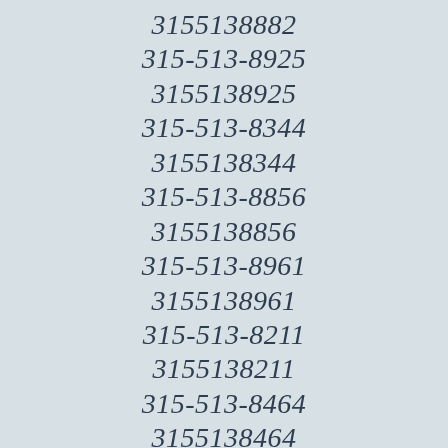3155138882
315-513-8925
3155138925
315-513-8344
3155138344
315-513-8856
3155138856
315-513-8961
3155138961
315-513-8211
3155138211
315-513-8464
3155138464
315-513-8819
3155138819
315-513-8???